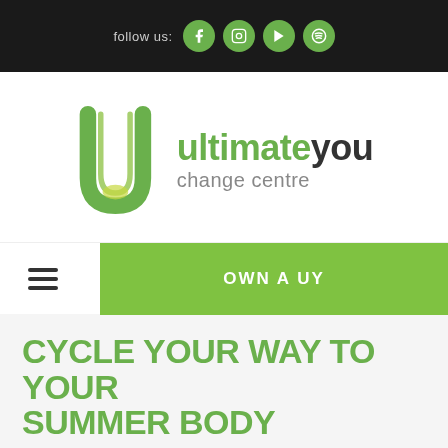follow us:
[Figure (logo): Ultimate You Change Centre logo with green U-shaped icon and text 'ultimateyou change centre']
OWN A UY
CYCLE YOUR WAY TO YOUR SUMMER BODY
October 29, 2014 | Tips, TRAINING & WORKOUT
Cycling is the ideal way to reclaim a toned body in time